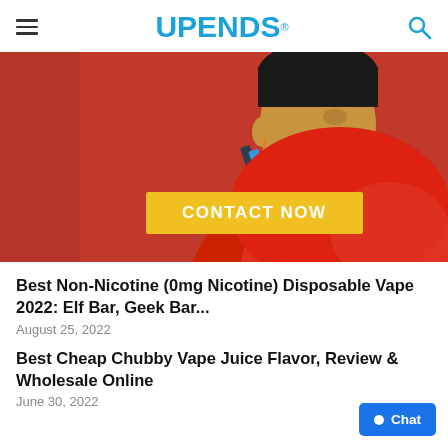UPENDS
[Figure (photo): Man in red shirt using a vape/disposable device, orange earphone cord, red background. Yellow 'CONTACT NOW' button overlay at bottom center.]
Best Non-Nicotine (0mg Nicotine) Disposable Vape 2022: Elf Bar, Geek Bar...
August 25, 2022
Best Cheap Chubby Vape Juice Flavor, Review & Wholesale Online
June 30, 2022